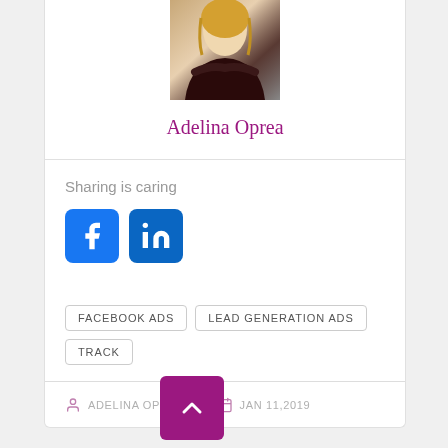[Figure (photo): Profile photo of Adelina Oprea, a blonde woman with arms crossed wearing a dark top]
Adelina Oprea
Sharing is caring
[Figure (logo): Facebook and LinkedIn social share icons]
FACEBOOK ADS
LEAD GENERATION ADS
TRACK
ADELINA OPREA  |  JAN 11,2019